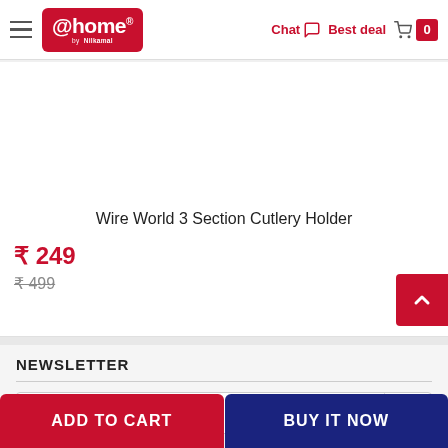[Figure (logo): @home by Nilkamal logo — red rounded rectangle with white text]
Chat  Best deal  0
Wire World 3 Section Cutlery Holder
₹ 249
₹ 499
NEWSLETTER
ADD TO CART
BUY IT NOW